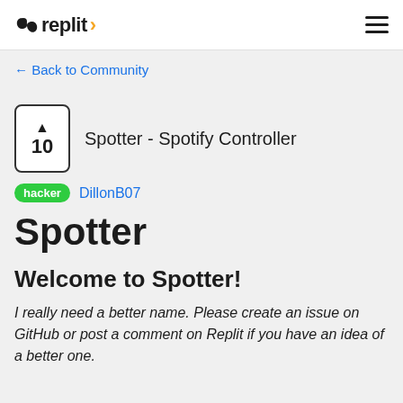replit
← Back to Community
▲ 10  Spotter - Spotify Controller
hacker  DillonB07
Spotter
Welcome to Spotter!
I really need a better name. Please create an issue on GitHub or post a comment on Replit if you have an idea of a better one.